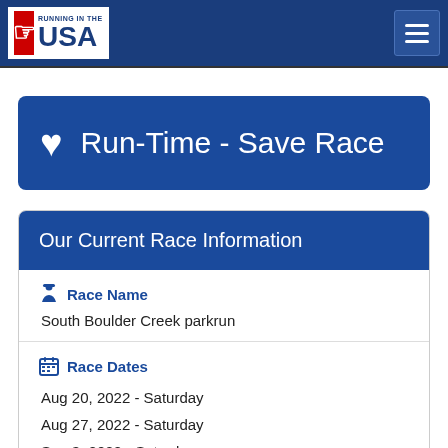Running in the USA — navigation bar with logo and hamburger menu
♥ Run-Time - Save Race
Our Current Race Information
Race Name
South Boulder Creek parkrun
Race Dates
Aug 20, 2022 - Saturday
Aug 27, 2022 - Saturday
Sep 3, 2022 - Saturday